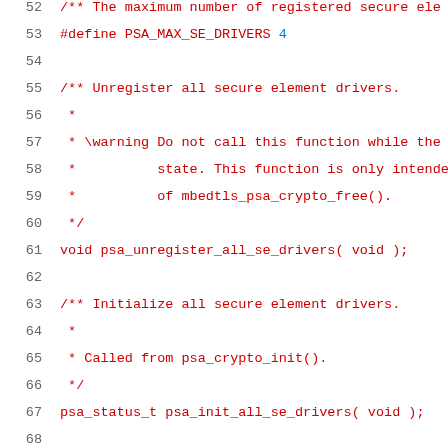52   /** The maximum number of registered secure ele
53   #define PSA_MAX_SE_DRIVERS 4
54
55   /** Unregister all secure element drivers.
56    *
57    * \warning Do not call this function while the
58    *          state. This function is only intende
59    *          of mbedtls_psa_crypto_free().
60    */
61   void psa_unregister_all_se_drivers( void );
62
63   /** Initialize all secure element drivers.
64    *
65    * Called from psa_crypto_init().
66    */
67   psa_status_t psa_init_all_se_drivers( void );
68
69   /** A structure that describes a registered secu
70    *
71    * A secure element driver table entry contains
72    * driver's method table as well as the driver